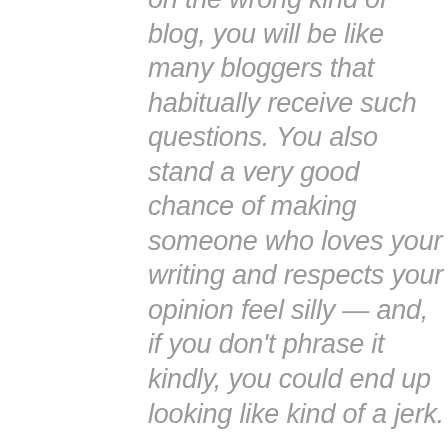on the wrong kind of blog, you will be like many bloggers that habitually receive such questions. You also stand a very good chance of making someone who loves your writing and respects your opinion feel silly — and, if you don't phrase it kindly, you could end up looking like kind of a jerk.